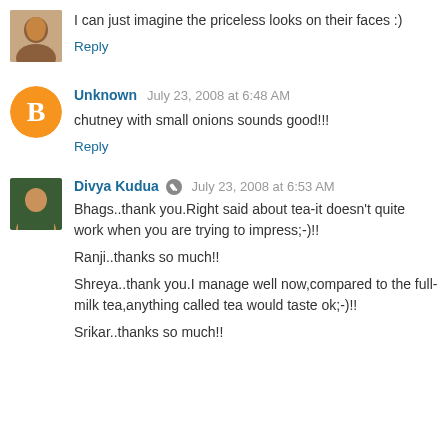[Figure (photo): Small profile photo of a woman]
I can just imagine the priceless looks on their faces :)
Reply
[Figure (logo): Orange Blogger 'B' logo avatar]
Unknown July 23, 2008 at 6:48 AM
chutney with small onions sounds good!!!
Reply
[Figure (photo): Profile photo of Divya Kudua]
Divya Kudua July 23, 2008 at 6:53 AM
Bhags..thank you.Right said about tea-it doesn't quite work when you are trying to impress;-)!!
Ranji..thanks so much!!
Shreya..thank you.I manage well now,compared to the full-milk tea,anything called tea would taste ok;-)!!
Srikar..thanks so much!!